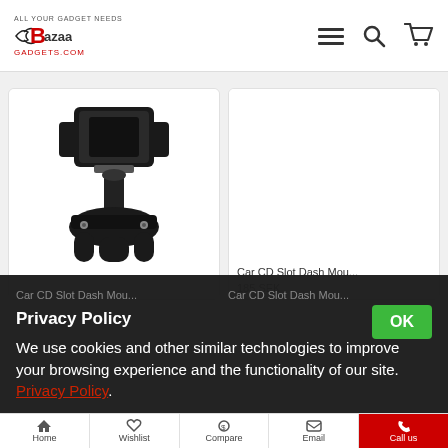Bazaar Gadgets - BazaarGadgets.com
[Figure (photo): Car CD Slot Dash Mount phone holder product photo - black plastic mount with adjustable grip, CD slot base]
Car CD Slot Dash Mou...
Car CD Slot Dash Mou...
185 SEK
Privacy Policy
We use cookies and other similar technologies to improve your browsing experience and the functionality of our site. Privacy Policy.
Home | Wishlist | Compare | Email | Call us